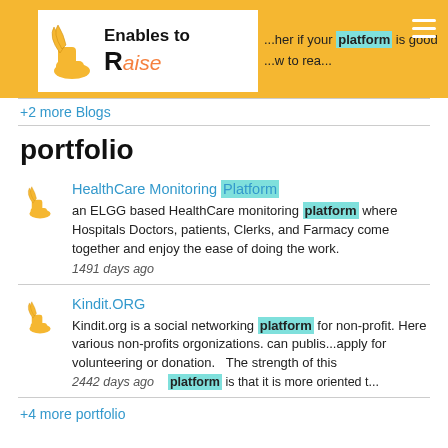[Figure (logo): Enraiser logo with winged boot icon and 'Enables to Raise' text on white card over yellow header bar]
...her if your platform is good ...w to rea...
+2 more Blogs
portfolio
[Figure (logo): Small enraiser winged boot icon]
HealthCare Monitoring Platform
an ELGG based HealthCare monitoring platform where Hospitals Doctors, patients, Clerks, and Farmacy come together and enjoy the ease of doing the work. 1491 days ago
[Figure (logo): Small enraiser winged boot icon]
Kindit.ORG
Kindit.org is a social networking platform for non-profit. Here various non-profits orgonizations. can publis...apply for volunteering or donation.   The strength of this 2442 days ago platform is that it is more oriented t...
+4 more portfolio